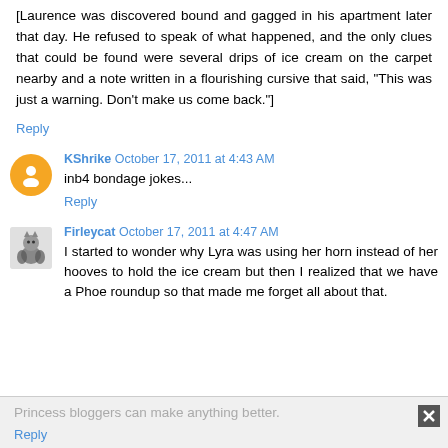[Laurence was discovered bound and gagged in his apartment later that day. He refused to speak of what happened, and the only clues that could be found were several drips of ice cream on the carpet nearby and a note written in a flourishing cursive that said, "This was just a warning. Don't make us come back."]
Reply
KShrike  October 17, 2011 at 4:43 AM
inb4 bondage jokes...
Reply
Firleycat  October 17, 2011 at 4:47 AM
I started to wonder why Lyra was using her horn instead of her hooves to hold the ice cream but then I realized that we have a Phoe roundup so that made me forget all about that.
Princess bloggers can make anything better.
Reply